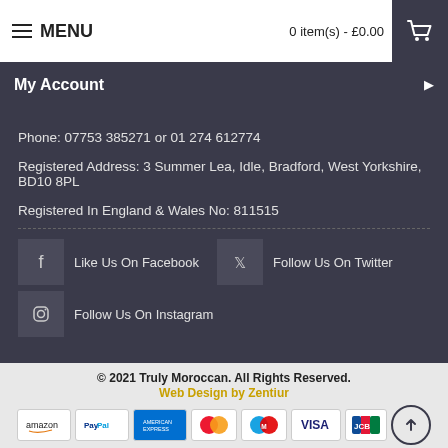MENU  0 item(s) - £0.00
My Account
Phone: 07753 385271 or 01 274 612774
Registered Address: 3 Summer Lea, Idle, Bradford, West Yorkshire, BD10 8PL
Registered In England & Wales No: 811515
Like Us On Facebook
Follow Us On Twitter
Follow Us On Instagram
© 2021 Truly Moroccan. All Rights Reserved. Web Design by Zentiur
[Figure (logo): Payment logos: Amazon, PayPal, American Express, MasterCard, Maestro, Visa, JCB, and scroll-to-top button]